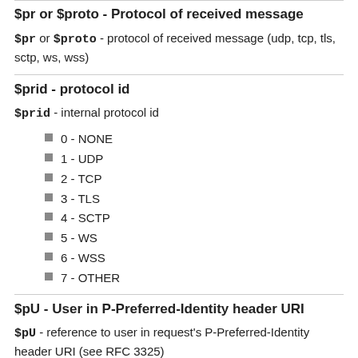$pr or $proto - Protocol of received message
$pr or $proto - protocol of received message (udp, tcp, tls, sctp, ws, wss)
$prid - protocol id
$prid - internal protocol id
0 - NONE
1 - UDP
2 - TCP
3 - TLS
4 - SCTP
5 - WS
6 - WSS
7 - OTHER
$pU - User in P-Preferred-Identity header URI
$pU - reference to user in request's P-Preferred-Identity header URI (see RFC 3325)